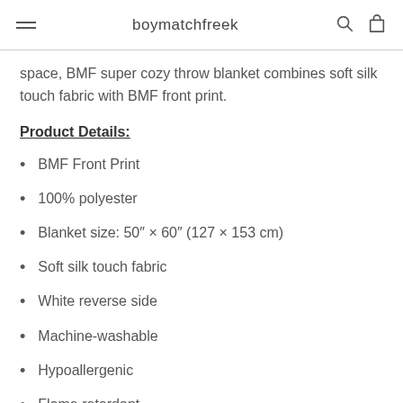boymatchfreek
space, BMF super cozy throw blanket combines soft silk touch fabric with BMF front print.
Product Details:
BMF Front Print
100% polyester
Blanket size: 50″ × 60″ (127 × 153 cm)
Soft silk touch fabric
White reverse side
Machine-washable
Hypoallergenic
Flame retardant